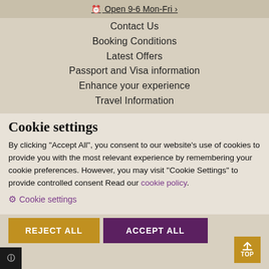Open 9-6 Mon-Fri >
Contact Us
Booking Conditions
Latest Offers
Passport and Visa information
Enhance your experience
Travel Information
Cookie settings
By clicking "Accept All", you consent to our website's use of cookies to provide you with the most relevant experience by remembering your cookie preferences. However, you may visit "Cookie Settings" to provide controlled consent Read our cookie policy.
Cookie settings
REJECT ALL
ACCEPT ALL